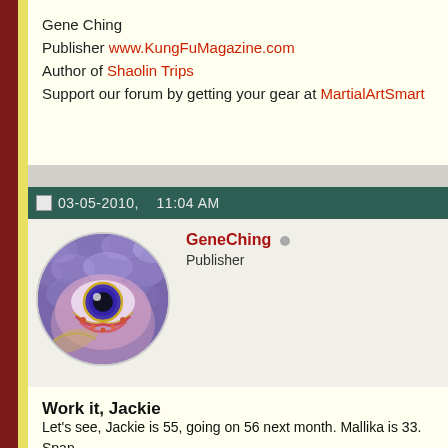Gene Ching
Publisher www.KungFuMagazine.com
Author of Shaolin Trips
Support our forum by getting your gear at MartialArtSmart
03-05-2010,    11:04 AM
[Figure (illustration): Circular avatar image showing a stylized dragon eye illustration with purple, pink and gold tones]
GeneChing  Publisher
Work it, Jackie
Let's see, Jackie is 55, going on 56 next month. Mallika is 33. Span
She was still great in that rat glue fight scene. That was one of Jac fights. I'm sure Mallika was his muse for that.